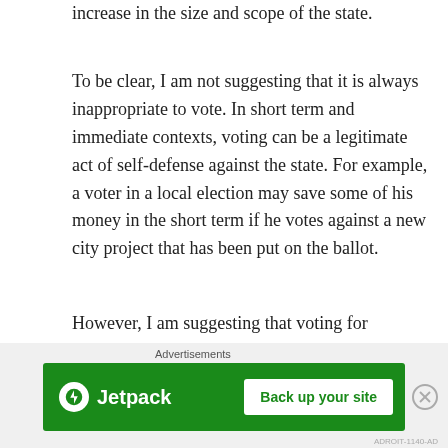increase in the size and scope of the state.
To be clear, I am not suggesting that it is always inappropriate to vote. In short term and immediate contexts, voting can be a legitimate act of self-defense against the state. For example, a voter in a local election may save some of his money in the short term if he votes against a new city project that has been put on the ballot.
However, I am suggesting that voting for “better” politicians can never be seen as the engine by which true positive change will come about. The swamp cannot be drained by utilizing the swamp. True, positive change
Advertisements
[Figure (other): Jetpack advertisement banner with green background showing Jetpack logo and 'Back up your site' button]